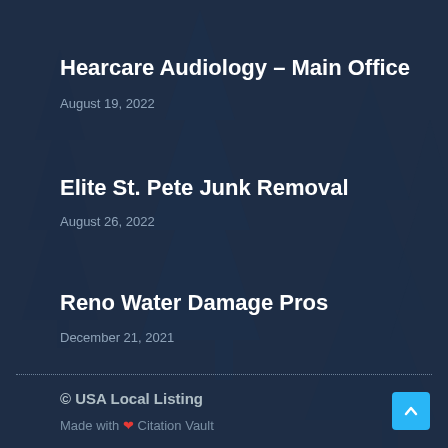Hearcare Audiology – Main Office
August 19, 2022
Elite St. Pete Junk Removal
August 26, 2022
Reno Water Damage Pros
December 21, 2021
© USA Local Listing
Made with ❤ Citation Vault